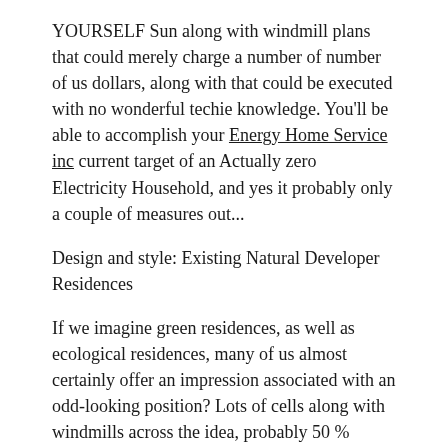YOURSELF Sun along with windmill plans that could merely charge a number of number of us dollars, along with that could be executed with no wonderful techie knowledge. You'll be able to accomplish your Energy Home Service inc current target of an Actually zero Electricity Household, and yes it probably only a couple of measures out...
Design and style: Existing Natural Developer Residences
If we imagine green residences, as well as ecological residences, many of us almost certainly offer an impression associated with an odd-looking position? Lots of cells along with windmills across the idea, probably 50 % smothered with a incline, as well as way too high technological for the finances? That will could have been true after nevertheless it can be currently probable to development your house...